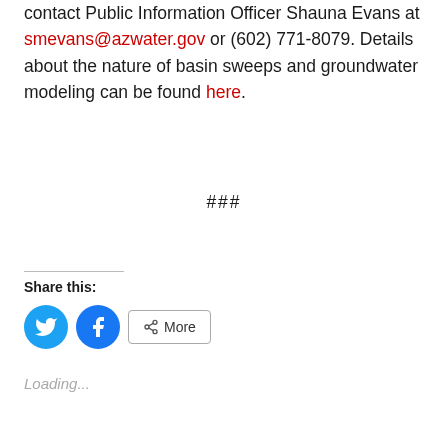contact Public Information Officer Shauna Evans at smevans@azwater.gov or (602) 771-8079. Details about the nature of basin sweeps and groundwater modeling can be found here.
###
Share this:
[Figure (other): Social share buttons: Twitter (blue circle with bird icon), Facebook (blue circle with f icon), and a More button with share icon]
Loading...